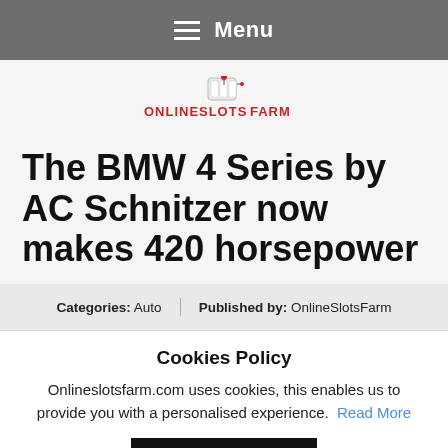Menu
[Figure (logo): Online Slots Farm logo with slot machine graphic and red/black text]
The BMW 4 Series by AC Schnitzer now makes 420 horsepower
Categories: Auto | Published by: OnlineSlotsFarm
Cookies Policy
Onlineslotsfarm.com uses cookies, this enables us to provide you with a personalised experience. Read More
Ok, I agree